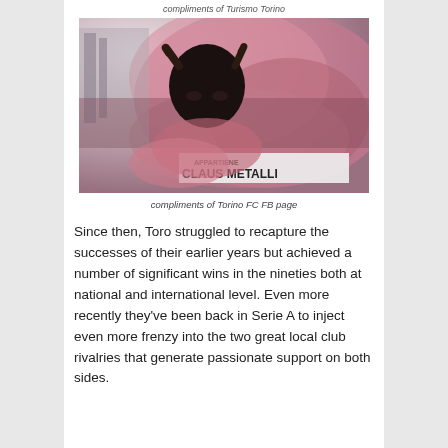compliments of Turismo Torino
[Figure (photo): A bull mascot figure held up by a fan in a stadium filled with pink/red smoke. A banner reading 'CLAUS METALLI' is visible in the background crowd.]
compliments of Torino FC FB page
Since then, Toro struggled to recapture the successes of their earlier years but achieved a number of significant wins in the nineties both at national and international level. Even more recently they've been back in Serie A to inject even more frenzy into the two great local club rivalries that generate passionate support on both sides.